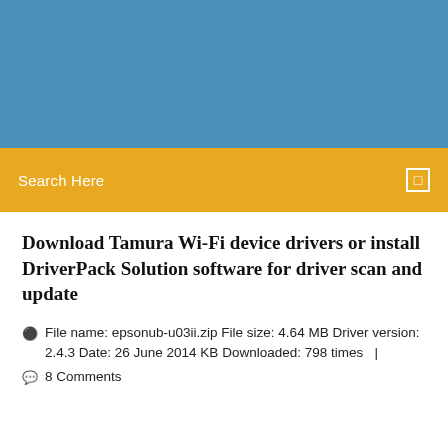[Figure (other): Blue banner header background at top of page]
Search Here
Download Tamura Wi-Fi device drivers or install DriverPack Solution software for driver scan and update
File name: epsonub-u03ii.zip File size: 4.64 MB Driver version: 2.4.3 Date: 26 June 2014 KB Downloaded: 798 times  |
8 Comments